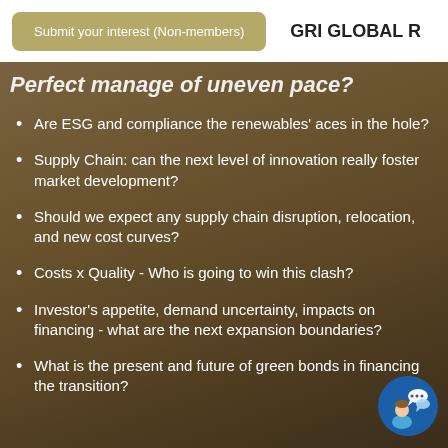Submit your interest (Non-members)   GRI GLOBAL R
Perfect manage of uneven pace?
Are ESG and compliance the renewables' aces in the hole?
Supply Chain: can the next level of innovation really foster market development?
Should we expect any supply chain disruption, relocation, and new cost curves?
Costs x Quality - Who is going to win this clash?
Investor's appetite, demand uncertainty, impacts on financing - what are the next expansion boundaries?
What is the present and future of green bonds in financing the transition?